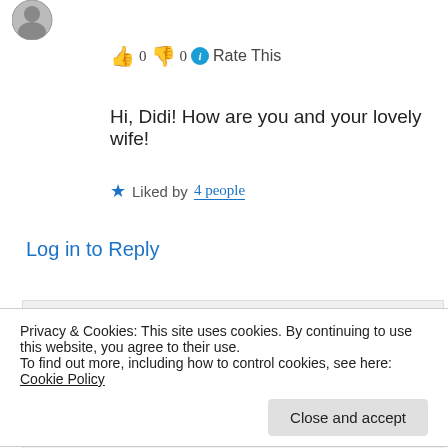[Figure (photo): Small circular avatar photo of a person, top left corner]
👍 0 👎 0 ℹ Rate This
Hi, Didi! How are you and your lovely wife!
★ Liked by 4 people
Log in to Reply
Didis Art Design on 07/02/2018 at 19:17
[Figure (photo): Circular colorful avatar with rainbow/kaleidoscope pattern for Didis Art Design]
👍 0 👎 0 ℹ Rate This
Privacy & Cookies: This site uses cookies. By continuing to use this website, you agree to their use.
To find out more, including how to control cookies, see here: Cookie Policy
Close and accept
in my case: I got a slipped disc at my spine